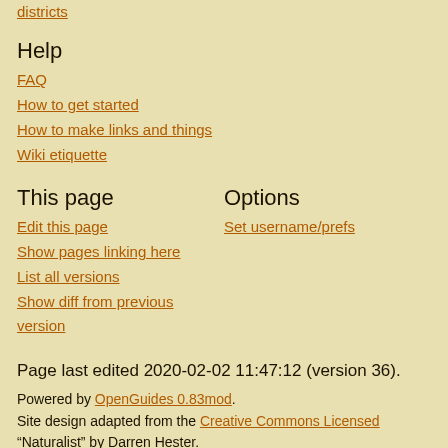districts
Help
FAQ
How to get started
How to make links and things
Wiki etiquette
This page
Options
Edit this page
Set username/prefs
Show pages linking here
List all versions
Show diff from previous version
Page last edited 2020-02-02 11:47:12 (version 36).
Powered by OpenGuides 0.83mod. Site design adapted from the Creative Commons Licensed “Naturalist” by Darren Hester.
The textual content of this work is licensed under the Creative Commons Attribution 2.0 licence.